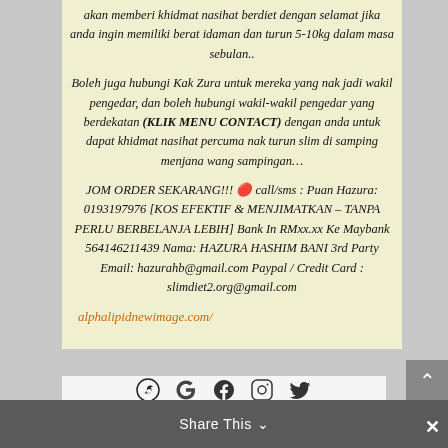akan memberi khidmat nasihat berdiet dengan selamat jika anda ingin memiliki berat idaman dan turun 5-10kg dalam masa sebulan..
Boleh juga hubungi Kak Zura untuk mereka yang nak jadi wakil pengedar, dan boleh hubungi wakil-wakil pengedar yang berdekatan (KLIK MENU CONTACT) dengan anda untuk dapat khidmat nasihat percuma nak turun slim di samping menjana wang sampingan…
JOM ORDER SEKARANG!!! 🔴 call/sms : Puan Hazura: 0193197976 [KOS EFEKTIF & MENJIMATKAN – TANPA PERLU BERBELANJA LEBIH] Bank In RMxx.xx Ke Maybank 564146211439 Nama: HAZURA HASHIM BANI 3rd Party Email: hazurahb@gmail.com Paypal / Credit Card : slimdiet2.org@gmail.com
alphalipidnewimage.com/
[Figure (infographic): Social media sharing bar with WhatsApp, Google, Facebook, Instagram, Twitter icons and Share This button with close X]